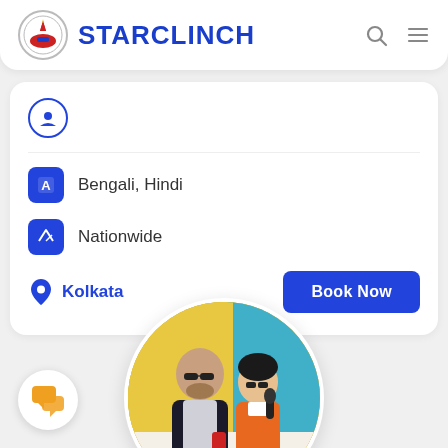STARCLINCH
Bengali, Hindi
Nationwide
Kolkata
Book Now
[Figure (photo): Circular profile photo of a man in sunglasses and a woman in an orange school uniform holding a microphone at an event with colorful backdrop]